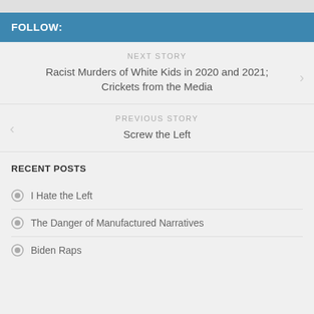FOLLOW:
NEXT STORY
Racist Murders of White Kids in 2020 and 2021; Crickets from the Media
PREVIOUS STORY
Screw the Left
RECENT POSTS
I Hate the Left
The Danger of Manufactured Narratives
Biden Raps